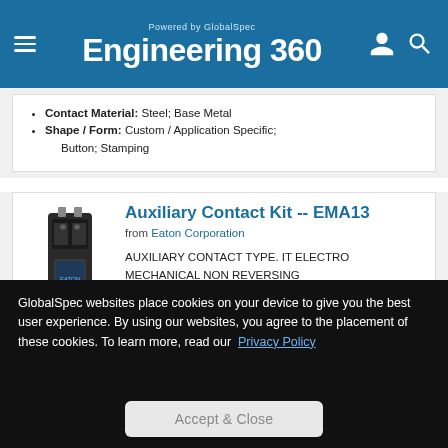Powered by GlobalSpec — Engineering 360
Contact Material: Steel; Base Metal
Shape / Form: Custom / Application Specific; Button; Stamping
Auxiliary Contact Kit -- EMA13
from Eaton Corporation
[Figure (photo): Product photo of Auxiliary Contact Kit EMA13 - a black electromechanical component]
View Datasheet
AUXILIARY CONTACT TYPE. IT ELECTRO MECHANICAL NON REVERSING CONTACTOR/STARTER USED ON. 1NO CONTACT CONFIGURATION. 600 VAC 10 AMPERE, 250 VDC 5 AMPERE CONTACT
GlobalSpec websites place cookies on your device to give you the best user experience. By using our websites, you agree to the placement of these cookies. To learn more, read our Privacy Policy
Accept & Close